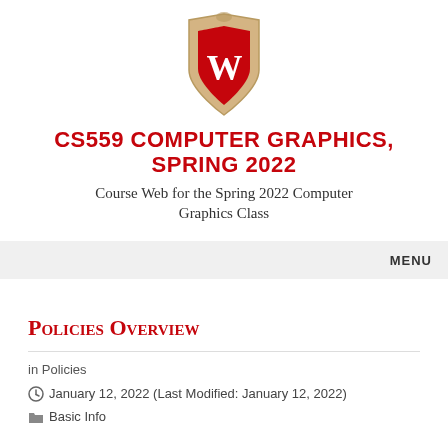[Figure (logo): University of Wisconsin-Madison crest/shield logo: red W on a cream/tan shield]
CS559 COMPUTER GRAPHICS, SPRING 2022
Course Web for the Spring 2022 Computer Graphics Class
MENU
Policies Overview
in Policies
January 12, 2022 (Last Modified: January 12, 2022)
Basic Info